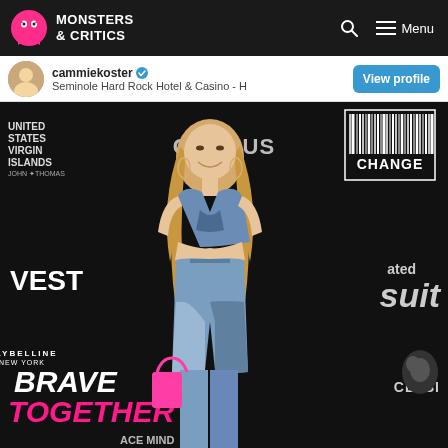MONSTERS & CRITICS
cammiekoster
Seminole Hard Rock Hotel & Casino - H
View profile
[Figure (photo): A blonde woman wearing a denim patchwork crop top and high-waisted jeans holding a pink bag, posing at an event with a dark backdrop featuring logos: United States Virgin Islands, Celsius, Change, Harvest, Sports Illustrated, Maybelline New York Brave Together, Celsius. There is a small circular avatar photo of the person in the top-left corner of the Instagram embed header.]